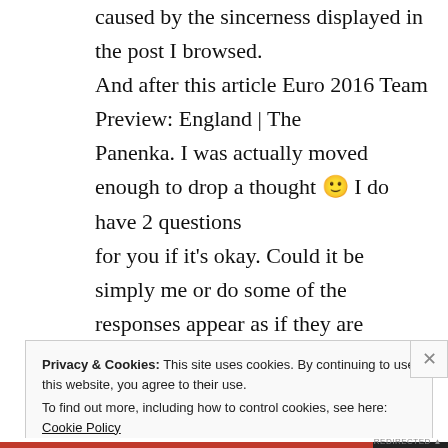caused by the sincerness displayed in the post I browsed. And after this article Euro 2016 Team Preview: England | The Panenka. I was actually moved enough to drop a thought 🙂 I do have 2 questions for you if it's okay. Could it be simply me or do some of the responses appear as if they are coming from brain dead people? 😛 And, if you are writing on other sites, I'd like to follow you. Could you make a list every one of all your social
Privacy & Cookies: This site uses cookies. By continuing to use this website, you agree to their use. To find out more, including how to control cookies, see here: Cookie Policy
Close and accept